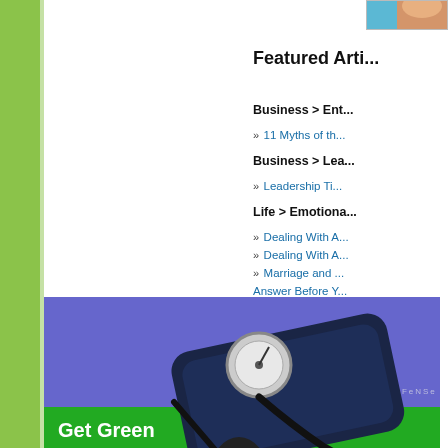[Figure (photo): Partial photo visible at top right corner showing person (likely medical context)]
Featured Arti...
Business > Ent...
» 11 Myths of th...
Business > Lea...
» Leadership Ti...
Life > Emotiona...
» Dealing With A...
» Dealing With A...
» Marriage and ... Answer Before Y...
» What is Emoti...
» Emotional Inte...
Life > Etiquette...
» What Are Goo...
Life > Self Help...
» Changing You... Changes
[Figure (photo): Advertisement banner showing a blood pressure cuff/sphygmomanometer on a purple/blue background with green strip at bottom reading 'Get Green', branded with Environmental Defense logo]